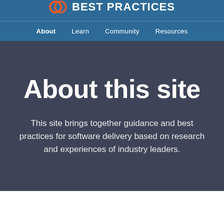CD BEST PRACTICES
About   Learn   Community   Resources
About this site
This site brings together guidance and best practices for software delivery based on research and experiences of industry leaders.